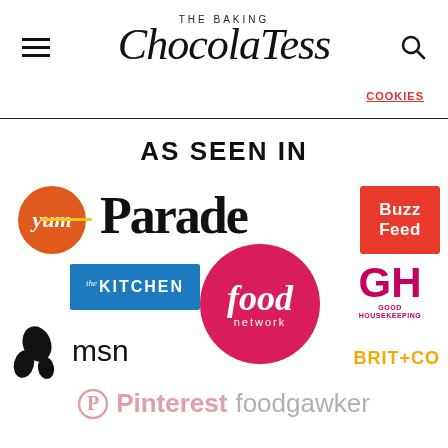THE BAKING ChocolaTess
Cookies
AS SEEN IN
[Figure (logo): Collection of media logos: Yum, Parade, BuzzFeed, The Kitchen, Food Network, Good Housekeeping (GH), MSN, Brit+Co, Pinterest, foodgawker]